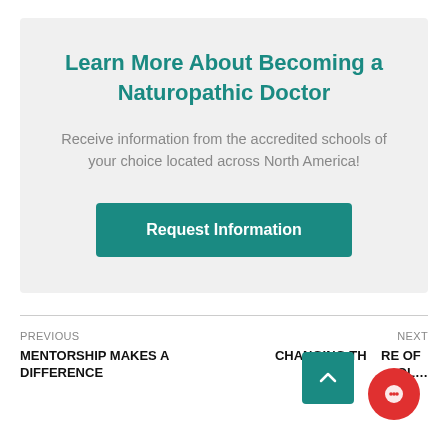Learn More About Becoming a Naturopathic Doctor
Receive information from the accredited schools of your choice located across North America!
Request Information
PREVIOUS
MENTORSHIP MAKES A DIFFERENCE
NEXT
CHANGING TH… RE OF …